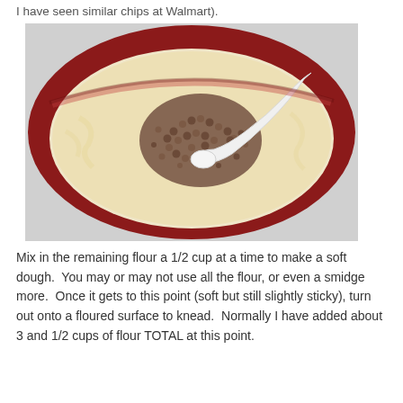I have seen similar chips at Walmart).
[Figure (photo): A red mixing bowl viewed from above containing a creamy batter with chocolate chips piled in the center and a white spoon resting in the bowl.]
Mix in the remaining flour a 1/2 cup at a time to make a soft dough.  You may or may not use all the flour, or even a smidge more.  Once it gets to this point (soft but still slightly sticky), turn out onto a floured surface to knead.  Normally I have added about 3 and 1/2 cups of flour TOTAL at this point.